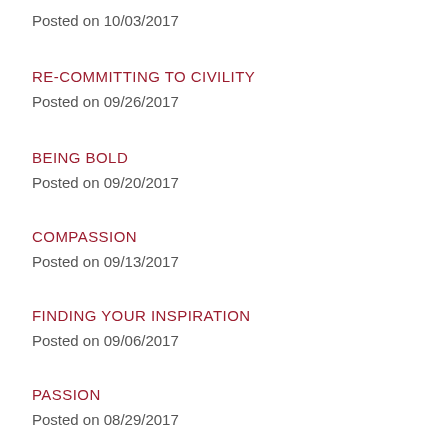Posted on 10/03/2017
RE-COMMITTING TO CIVILITY
Posted on 09/26/2017
BEING BOLD
Posted on 09/20/2017
COMPASSION
Posted on 09/13/2017
FINDING YOUR INSPIRATION
Posted on 09/06/2017
PASSION
Posted on 08/29/2017